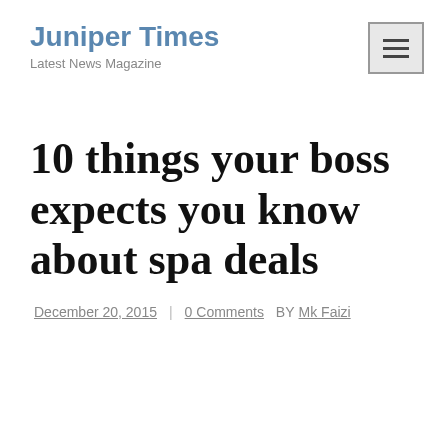Juniper Times
Latest News Magazine
10 things your boss expects you know about spa deals
December 20, 2015  |  0 Comments  BY Mk Faizi